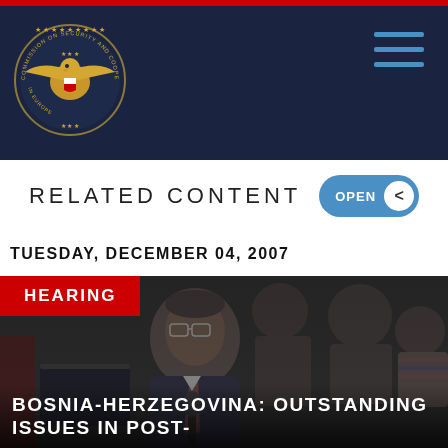Commission on Security and Cooperation in Europe
RELATED CONTENT
TUESDAY, DECEMBER 04, 2007
[Figure (photo): People seated at a hearing table; man with glasses speaking at microphone in foreground, others in background]
HEARING
BOSNIA-HERZEGOVINA: OUTSTANDING ISSUES IN POST-